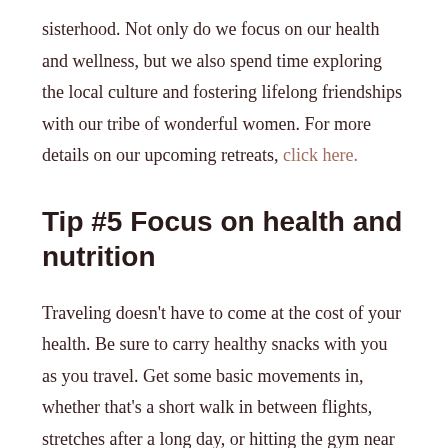sisterhood. Not only do we focus on our health and wellness, but we also spend time exploring the local culture and fostering lifelong friendships with our tribe of wonderful women. For more details on our upcoming retreats, click here.
Tip #5 Focus on health and nutrition
Traveling doesn't have to come at the cost of your health. Be sure to carry healthy snacks with you as you travel. Get some basic movements in, whether that's a short walk in between flights, stretches after a long day, or hitting the gym near your